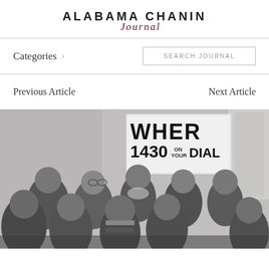ALABAMA CHANIN Journal
Categories >
SEARCH JOURNAL
Previous Article
Next Article
[Figure (photo): Black and white vintage photograph of a group of approximately ten women posing together indoors. Behind them is a sign reading 'WHER 1430 ON YOUR DIAL'. The women are dressed in 1950s style clothing.]